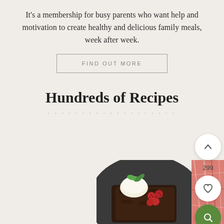It’s a membership for busy parents who want help and motivation to create healthy and delicious family meals, week after week.
FIND OUT MORE
Hundreds of Recipes
[Figure (photo): A close-up photo of a chocolate brownie on a dark plate, topped with raspberries, a scoop of cream or ice cream, and a mint leaf garnish. A red and white patterned cloth napkin is visible in the background.]
299